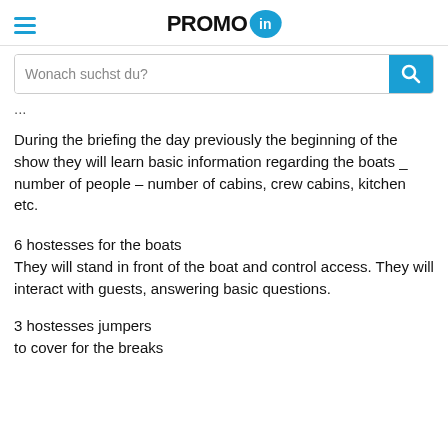PROMO IN
Wonach suchst du?
...
During the briefing the day previously the beginning of the show they will learn basic information regarding the boats _ number of people – number of cabins, crew cabins, kitchen etc.
6 hostesses for the boats
They will stand in front of the boat and control access. They will interact with guests, answering basic questions.
3 hostesses jumpers
to cover for the breaks